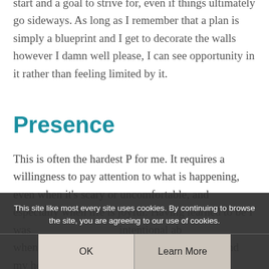start and a goal to strive for, even if things ultimately go sideways. As long as I remember that a plan is simply a blueprint and I get to decorate the walls however I damn well please, I can see opportunity in it rather than feeling limited by it.
Presence
This is often the hardest P for me. It requires a willingness to pay attention to what is happening, even when it's scary or uncomfortable, and especially when life is joyful. Having learned to be I was intentional about when I feel joy and imprinting it on my brain and my heart. Paying
This site like most every site uses cookies. By continuing to browse the site, you are agreeing to our use of cookies.